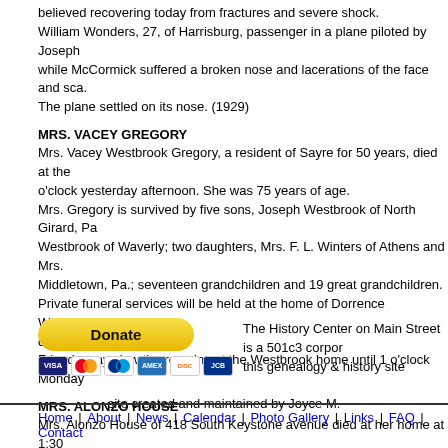believed recovering today from fractures and severe shock. William Wonders, 27, of Harrisburg, passenger in a plane piloted by Joseph while McCormick suffered a broken nose and lacerations of the face and sca. The plane settled on its nose. (1929)
MRS. VACEY GREGORY
Mrs. Vacey Westbrook Gregory, a resident of Sayre for 50 years, died at the o'clock yesterday afternoon. She was 75 years of age. Mrs. Gregory is survived by five sons, Joseph Westbrook of North Girard, Pa Westbrook of Waverly; two daughters, Mrs. F. L. Winters of Athens and Mrs. Middletown, Pa.; seventeen grandchildren and 19 great grandchildren. Private funeral services will be held at the home of Dorrence Westbrook Mon cemetery. Friends may view the remains at the Westbrook home until 1 o'clock Monday
MRS. ALONZO HOUSE
Mrs. Alonzo House of 418 South Keystone avenue died at her home at 1:30 She is survived by her husband, three duaghters, mrs. Cecil Messersmith of Etta Brown of Sayre, and five sons, Harold, at home; Walter and Leslie of Jo Funeral arrangements will be announced later.  (Oct 19 1929)
[Figure (other): Donate button and payment card icons (Visa, Mastercard, PayPal, American Express, Discover, JCB)]
The History Center on Main Street is a 501c3 corporation supporting this genealogy & history site
site created and maintained by Joyce M.
Home | About | News | Calendar | Photo Gallery | Links | FAQ | Contact